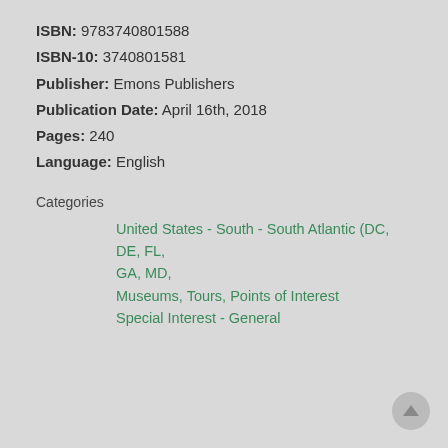ISBN: 9783740801588
ISBN-10: 3740801581
Publisher: Emons Publishers
Publication Date: April 16th, 2018
Pages: 240
Language: English
Categories
United States - South - South Atlantic (DC, DE, FL, GA, MD,
Museums, Tours, Points of Interest
Special Interest - General